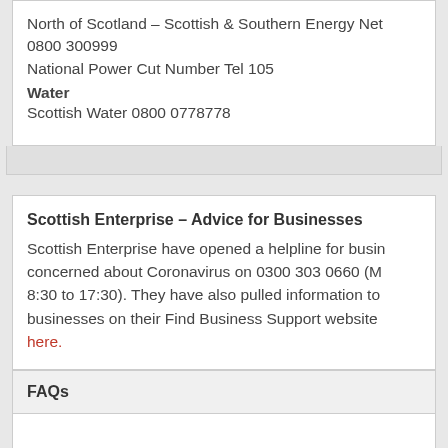North of Scotland – Scottish & Southern Energy Networks 0800 300999
National Power Cut Number Tel 105
Water
Scottish Water 0800 0778778
Scottish Enterprise – Advice for Businesses
Scottish Enterprise have opened a helpline for businesses concerned about Coronavirus on 0300 303 0660 (Mon-Fri 8:30 to 17:30). They have also pulled information together for businesses on their Find Business Support website available here.
FAQs